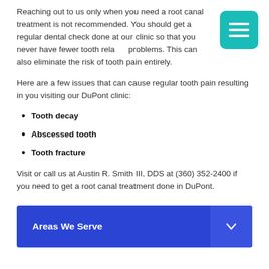Reaching out to us only when you need a root canal treatment is not recommended. You should get a regular dental check done at our clinic so that you never have fewer tooth related problems. This can also eliminate the risk of tooth pain entirely.
Here are a few issues that can cause regular tooth pain resulting in you visiting our DuPont clinic:
Tooth decay
Abscessed tooth
Tooth fracture
Visit or call us at Austin R. Smith III, DDS at (360) 352-2400 if you need to get a root canal treatment done in DuPont.
Areas We Serve